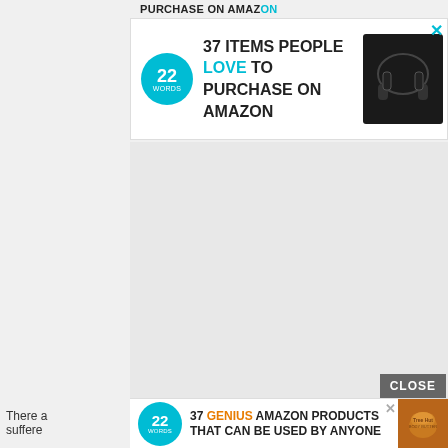[Figure (screenshot): Advertisement banner for '22 Words' website showing '37 ITEMS PEOPLE LOVE TO PURCHASE ON AMAZON' with a teal 22 Words logo badge on the left and wireless earbuds product image on the right, with a teal X close button]
[Figure (screenshot): Large gray/white empty content area — ad placeholder or loading area with a dark CLOSE button in the bottom right corner]
There a  s suffere  can
[Figure (screenshot): Bottom advertisement banner showing '22 Words' logo badge with text '37 GENIUS AMAZON PRODUCTS THAT CAN BE USED BY ANYONE' with an orange body butter product image on the right and X close button]